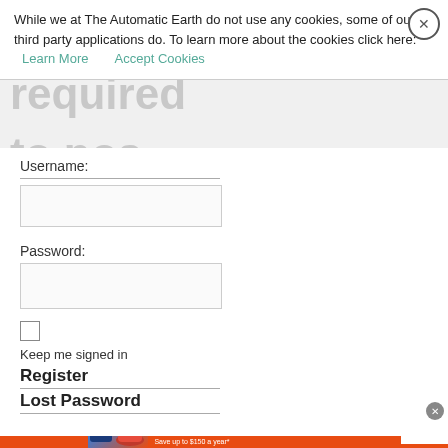While we at The Automatic Earth do not use any cookies, some of our third party applications do. To learn more about the cookies click here: Learn More  Accept Cookies
Login required to post
Username:
Password:
Keep me signed in
Register
Lost Password
©2022 The Automatic Earth All Rights Reserved
[Figure (infographic): Sam's Club advertisement for Tide detergent. Orange background with Sam's Club logo, Tide OXI and Tide liquid detergent products, text: IT'S OUR HOME. LET'S PROTECT IT TOGETHER. Wash in cold. Save up to $150 a year*. SHOP NOW button.]